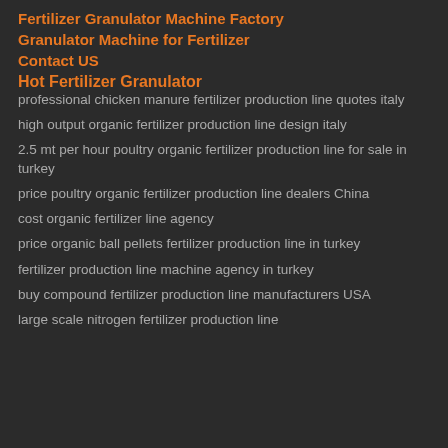Fertilizer Granulator Machine Factory
Granulator Machine for Fertilizer
Contact US
Hot Fertilizer Granulator
professional chicken manure fertilizer production line quotes italy
high output organic fertilizer production line design italy
2.5 mt per hour poultry organic fertilizer production line for sale in turkey
price poultry organic fertilizer production line dealers China
cost organic fertilizer line agency
price organic ball pellets fertilizer production line in turkey
fertilizer production line machine agency in turkey
buy compound fertilizer production line manufacturers USA
large scale nitrogen fertilizer production line